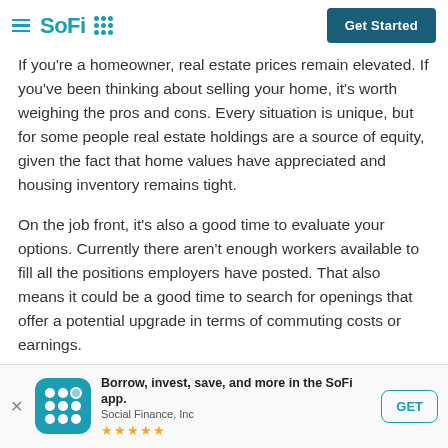SoFi — Get Started
If you're a homeowner, real estate prices remain elevated. If you've been thinking about selling your home, it's worth weighing the pros and cons. Every situation is unique, but for some people real estate holdings are a source of equity, given the fact that home values have appreciated and housing inventory remains tight.
On the job front, it's also a good time to evaluate your options. Currently there aren't enough workers available to fill all the positions employers have posted. That also means it could be a good time to search for openings that offer a potential upgrade in terms of commuting costs or earnings.
Borrow, invest, save, and more in the SoFi app. Social Finance, Inc ★★★★½ GET